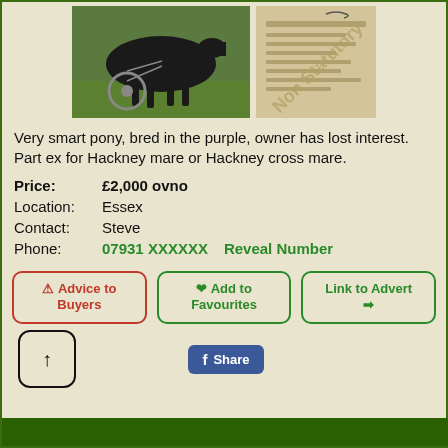[Figure (photo): Two photos: left shows a dark pony pulling a cart in harness on grass; right shows a document with 'Non Statutory' watermark text]
Very smart pony, bred in the purple, owner has lost interest. Part ex for Hackney mare or Hackney cross mare.
Price: £2,000 ovno
Location: Essex
Contact: Steve
Phone: 07931 XXXXXX  Reveal Number
⚠ Advice to Buyers | ♥ Add to Favourites | Link to Advert ➔
f Share